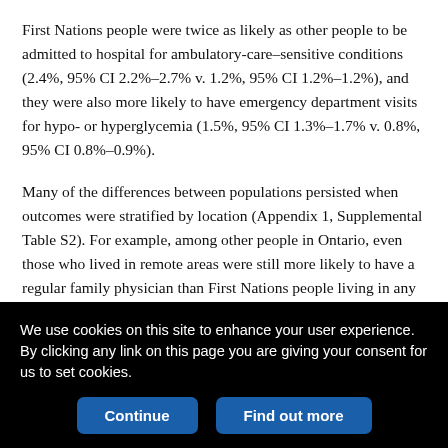First Nations people were twice as likely as other people to be admitted to hospital for ambulatory-care–sensitive conditions (2.4%, 95% CI 2.2%–2.7% v. 1.2%, 95% CI 1.2%–1.2%), and they were also more likely to have emergency department visits for hypo- or hyperglycemia (1.5%, 95% CI 1.3%–1.7% v. 0.8%, 95% CI 0.8%–0.9%).
Many of the differences between populations persisted when outcomes were stratified by location (Appendix 1, Supplemental Table S2). For example, among other people in Ontario, even those who lived in remote areas were still more likely to have a regular family physician than First Nations people living in any location. However, use of endocrinologists differed by location of residence:
We use cookies on this site to enhance your user experience. By clicking any link on this page you are giving your consent for us to set cookies.